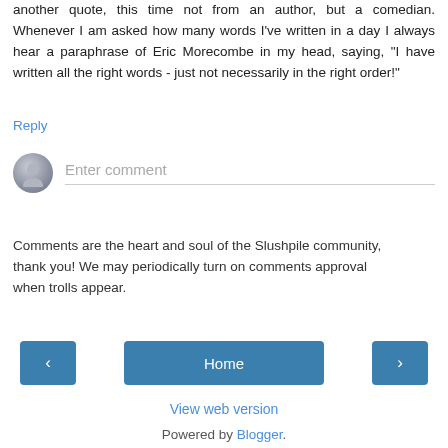another quote, this time not from an author, but a comedian. Whenever I am asked how many words I've written in a day I always hear a paraphrase of Eric Morecombe in my head, saying, "I have written all the right words - just not necessarily in the right order!"
Reply
Enter comment
Comments are the heart and soul of the Slushpile community, thank you! We may periodically turn on comments approval when trolls appear.
< Home >
View web version
Powered by Blogger.